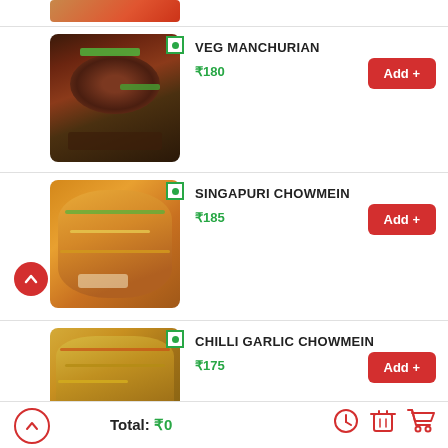[Figure (photo): Partial view of a food item at top of screen]
VEG MANCHURIAN
₹180
Add +
[Figure (photo): Veg Manchurian dish in a black pan with sauce and spring onions]
SINGAPURI CHOWMEIN
₹185
Add +
[Figure (photo): Singapuri Chowmein noodles with vegetables]
CHILLI GARLIC CHOWMEIN
₹175
Add +
[Figure (photo): Chilli Garlic Chowmein noodles in a bowl]
Total: ₹0